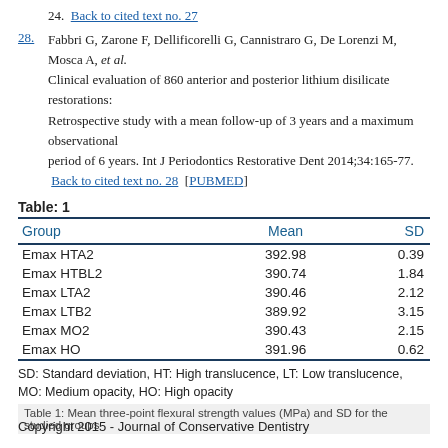24.  Back to cited text no. 27
28. Fabbri G, Zarone F, Dellificorelli G, Cannistraro G, De Lorenzi M, Mosca A, et al. Clinical evaluation of 860 anterior and posterior lithium disilicate restorations: Retrospective study with a mean follow-up of 3 years and a maximum observational period of 6 years. Int J Periodontics Restorative Dent 2014;34:165-77.  Back to cited text no. 28  [PUBMED]
Table: 1
| Group | Mean | SD |
| --- | --- | --- |
| Emax HTA2 | 392.98 | 0.39 |
| Emax HTBL2 | 390.74 | 1.84 |
| Emax LTA2 | 390.46 | 2.12 |
| Emax LTB2 | 389.92 | 3.15 |
| Emax MO2 | 390.43 | 2.15 |
| Emax HO | 391.96 | 0.62 |
SD: Standard deviation, HT: High translucence, LT: Low translucence, MO: Medium opacity, HO: High opacity
Table 1: Mean three-point flexural strength values (MPa) and SD for the studied groups
Copyright 2015 - Journal of Conservative Dentistry